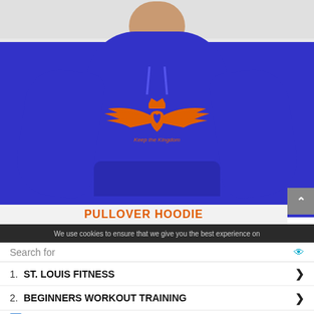[Figure (photo): Man wearing a blue pullover hoodie with an orange winged crown/heart logo and text 'Keep the Kingdom' on the chest]
PULLOVER HOODIE
We use cookies to ensure that we give you the best experience on
Search for
1. ST. LOUIS FITNESS
2. BEGINNERS WORKOUT TRAINING
Ad | Business Focus